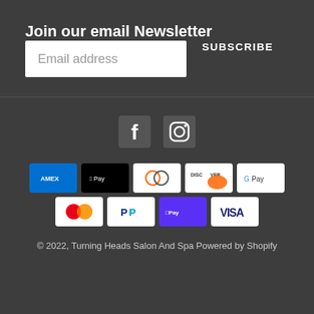Join our email Newsletter
Email address
SUBSCRIBE
[Figure (logo): Facebook and Instagram social media icons]
[Figure (logo): Payment method icons: American Express, Apple Pay, Diners Club, Discover, Google Pay, Mastercard, PayPal, Shop Pay, Visa]
© 2022, Turning Heads Salon And Spa Powered by Shopify